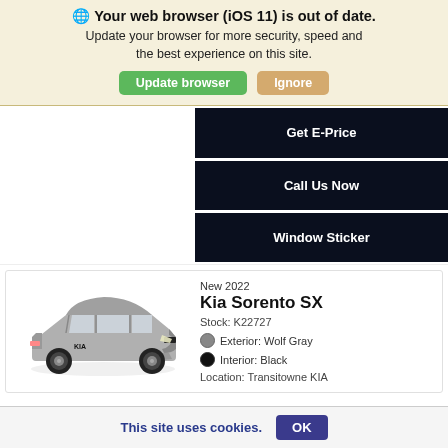🌐 Your web browser (iOS 11) is out of date. Update your browser for more security, speed and the best experience on this site.
Update browser | Ignore
Get E-Price
Call Us Now
Window Sticker
[Figure (photo): Gray Kia Sorento SX SUV, 3/4 front view with black wheels]
New 2022
Kia Sorento SX
Stock: K22727
Exterior: Wolf Gray
Interior: Black
Location: Transitowne KIA
This site uses cookies. OK